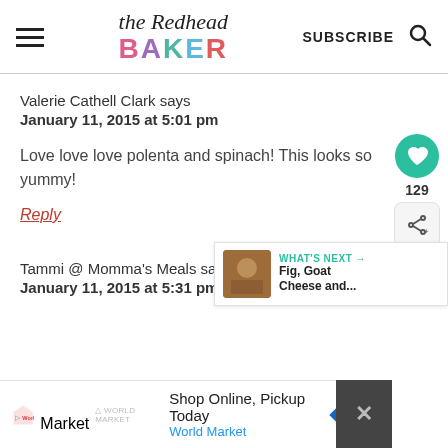the Redhead BAKER — SUBSCRIBE
Valerie Cathell Clark says
January 11, 2015 at 5:01 pm
Love love love polenta and spinach! This looks so yummy!
Reply
Tammi @ Momma's Meals says
January 11, 2015 at 5:31 pm
[Figure (screenshot): Advertisement bar: Shop Online, Pickup Today — World Market with World Market logo and blue navigation arrow badge]